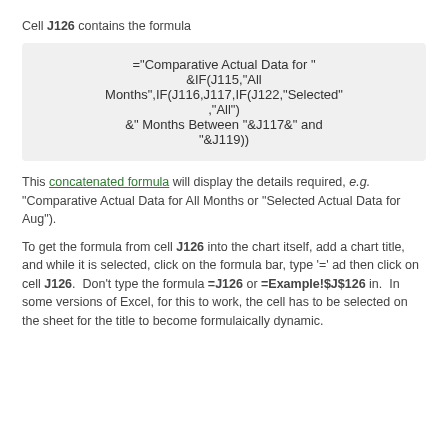Cell J126 contains the formula
This concatenated formula will display the details required, e.g. "Comparative Actual Data for All Months or "Selected Actual Data for Aug").
To get the formula from cell J126 into the chart itself, add a chart title, and while it is selected, click on the formula bar, type '=' ad then click on cell J126.  Don't type the formula =J126 or =Example!$J$126 in.  In some versions of Excel, for this to work, the cell has to be selected on the sheet for the title to become formulaically dynamic.